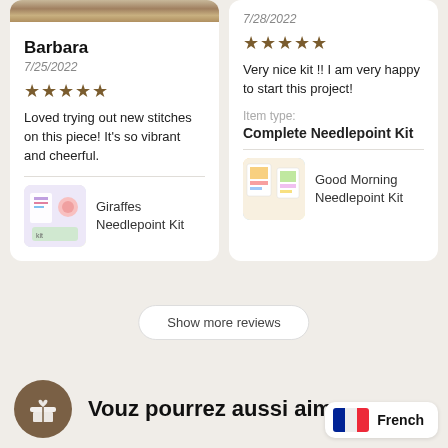Barbara
7/25/2022
★★★★★
Loved trying out new stitches on this piece! It's so vibrant and cheerful.
Giraffes Needlepoint Kit
7/28/2022
★★★★★
Very nice kit !! I am very happy to start this project!
Item type:
Complete Needlepoint Kit
Good Morning Needlepoint Kit
Show more reviews
Vouz pourrez aussi aimer
French